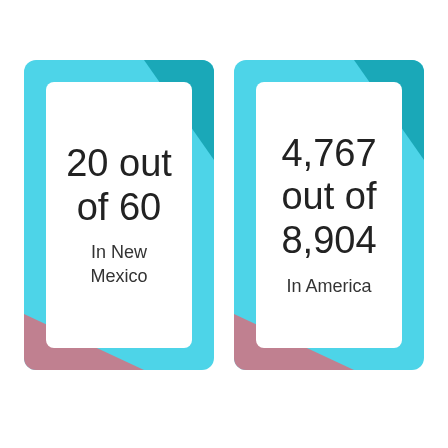[Figure (infographic): Two info cards side by side. Left card (cyan/teal background with teal and pink accent triangles, white inner panel): '20 out of 60 In New Mexico'. Right card (same style): '4,767 out of 8,904 In America'.]